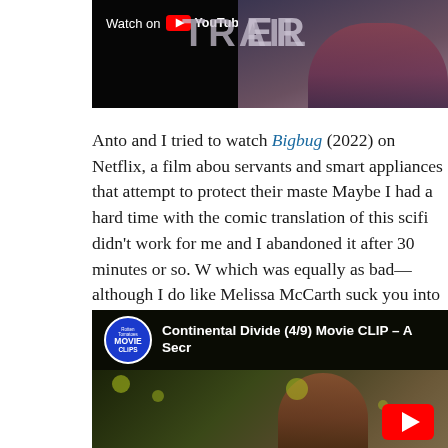[Figure (screenshot): YouTube video thumbnail showing 'Watch on YouTube' overlay on left side, and 'TRAILER' text with person visible on right side]
Anto and I tried to watch Bigbug (2022) on Netflix, a film about servants and smart appliances that attempt to protect their masters. Maybe I had a hard time with the comic translation of this scifi didn't work for me and I abandoned it after 30 minutes or so. W which was equally as bad—although I do like Melissa McCarth suck you into some horrible choices, I am increasingly hating th
[Figure (screenshot): YouTube embedded video: 'Continental Divide (4/9) Movie CLIP - A Secr' with Movieclips badge, showing a scene with a woman outdoors with bokeh background and YouTube play button]